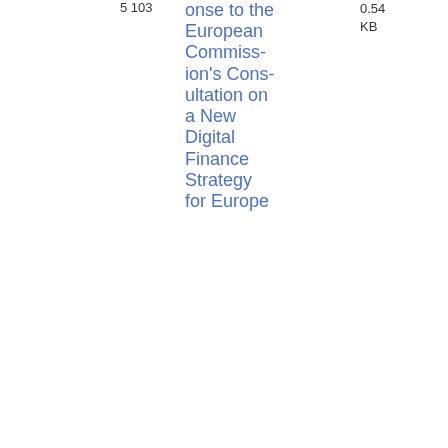5 103
onse to the European Commission's Consultation on a New Digital Finance Strategy for Europe
0.54 KB